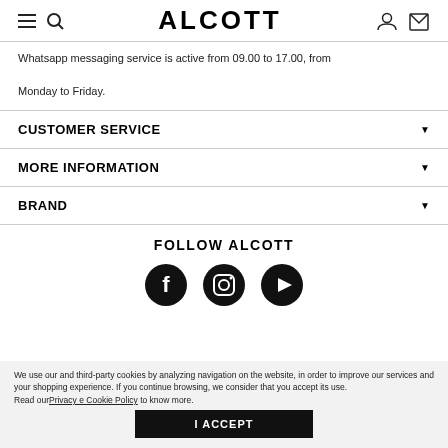ALCOTT
Whatsapp messaging service is active from 09.00 to 17.00, from Monday to Friday.
CUSTOMER SERVICE
MORE INFORMATION
BRAND
FOLLOW ALCOTT
[Figure (illustration): Social media icons: Facebook, Instagram, YouTube]
We use our and third-party cookies by analyzing navigation on the website, in order to improve our services and your shopping experience. If you continue browsing, we consider that you accept its use.
Read our Privacy e Cookie Policy to know more.
I ACCEPT